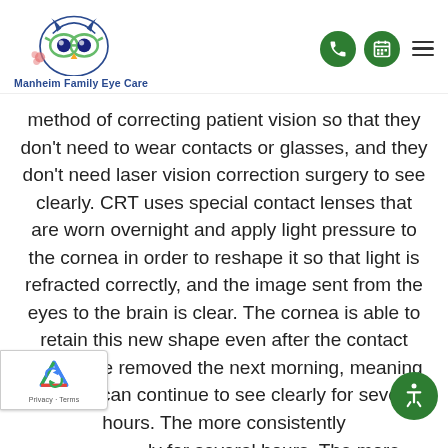Manheim Family Eye Care
method of correcting patient vision so that they don't need to wear contacts or glasses, and they don't need laser vision correction surgery to see clearly. CRT uses special contact lenses that are worn overnight and apply light pressure to the cornea in order to reshape it so that light is refracted correctly, and the image sent from the eyes to the brain is clear. The cornea is able to retain this new shape even after the contact lenses are removed the next morning, meaning that you can continue to see clearly for several hours. The more consistently you wear your CRT lenses overnight, the longer your vision will be...